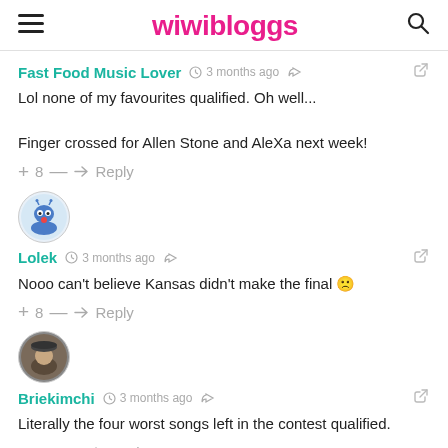wiwibloggs
Fast Food Music Lover · 3 months ago
Lol none of my favourites qualified. Oh well...

Finger crossed for Allen Stone and AleXa next week!
+ 8 — → Reply
[Figure (illustration): User avatar for Lolek - cartoon character with blue/red design in a circle]
Lolek · 3 months ago
Nooo can't believe Kansas didn't make the final 🙁
+ 8 — → Reply
[Figure (photo): User avatar for Briekimchi - person wearing hat, circular photo]
Briekimchi · 3 months ago
Literally the four worst songs left in the contest qualified.
+ -10 — → Reply